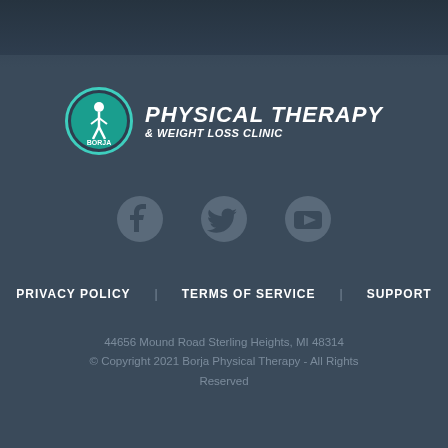[Figure (logo): Borja Physical Therapy & Weight Loss Clinic logo with teal circle icon and white text]
[Figure (infographic): Three social media icons: Facebook, Twitter, YouTube in dark grey color]
PRIVACY POLICY   TERMS OF SERVICE   SUPPORT
44656 Mound Road Sterling Heights, MI 48314
© Copyright 2021 Borja Physical Therapy - All Rights Reserved